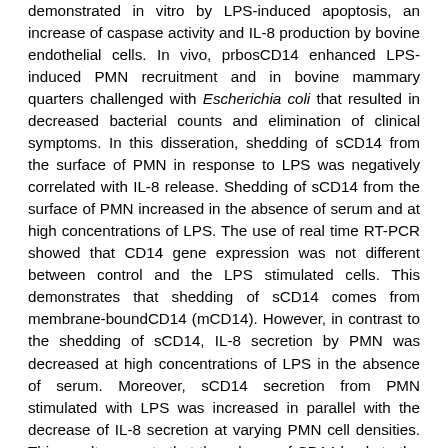demonstrated in vitro by LPS-induced apoptosis, an increase of caspase activity and IL-8 production by bovine endothelial cells. In vivo, prbosCD14 enhanced LPS-induced PMN recruitment and in bovine mammary quarters challenged with Escherichia coli that resulted in decreased bacterial counts and elimination of clinical symptoms. In this disseration, shedding of sCD14 from the surface of PMN in response to LPS was negatively correlated with IL-8 release. Shedding of sCD14 from the surface of PMN increased in the absence of serum and at high concentrations of LPS. The use of real time RT-PCR showed that CD14 gene expression was not different between control and the LPS stimulated cells. This demonstrates that shedding of sCD14 comes from membrane-boundCD14 (mCD14). However, in contrast to the shedding of sCD14, IL-8 secretion by PMN was decreased at high concentrations of LPS in the absence of serum. Moreover, sCD14 secretion from PMN stimulated with LPS was increased in parallel with the decrease of IL-8 secretion at varying PMN cell densities. This result suggests that the release of CD14 leads to the down-regulation of IL-8 secretion by PMN in response to LPS. Bovine PMN produced different types of cytokines in response to LPS in this disseration. The secretion of TNF-alpha, IL-1beta, IL-8 and INF-gamma by PMN increased in a dose-dependent manner, but